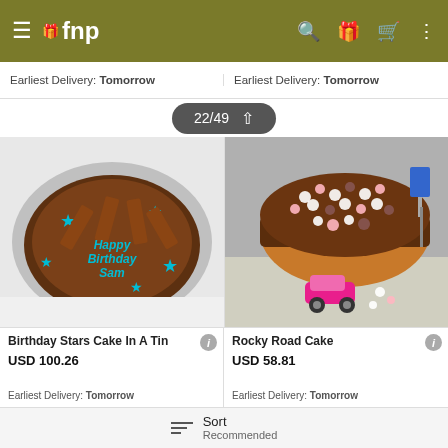fnp - navigation header
Earliest Delivery: Tomorrow
Earliest Delivery: Tomorrow
22/49 ↑
[Figure (photo): Birthday Stars Cake In A Tin - chocolate cake decorated with blue stars and Kit Kat bars, with 'Happy Birthday Sam' written in blue icing]
[Figure (photo): Rocky Road Cake - chocolate cake topped with mini marshmallows, displayed with a toy pink car]
Birthday Stars Cake In A Tin
USD 100.26
Earliest Delivery: Tomorrow
Rocky Road Cake
USD 58.81
Earliest Delivery: Tomorrow
Sort Recommended